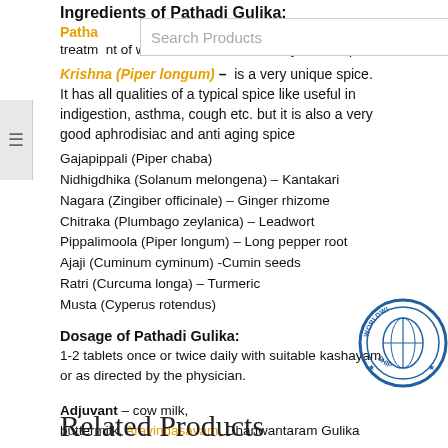Ingredients of Pathadi Gulika:
Patha
treatment of wounds etc. It is commonly used in pediatric health complaints.
Krishna (Piper longum) – is a very unique spice. It has all qualities of a typical spice like useful in indigestion, asthma, cough etc. but it is also a very good aphrodisiac and anti aging spice
Gajapippali (Piper chaba)
Nidhigdhika (Solanum melongena) – Kantakari
Nagara (Zingiber officinale) – Ginger rhizome
Chitraka (Plumbago zeylanica) – Leadwort
Pippalimoola (Piper longum) – Long pepper root
Ajaji (Cuminum cyminum) -Cumin seeds
Ratri (Curcuma longa) – Turmeric
Musta (Cyperus rotendus)
Dosage of Pathadi Gulika:
1-2 tablets once or twice daily with suitable kashayam, or as directed by the physician.
Adjuvant – cow milk, buttermilk, Aravindasavam, Dhanwantaram Gulika
[Figure (logo): Worldwide shipping circular stamp in blue]
Related Products